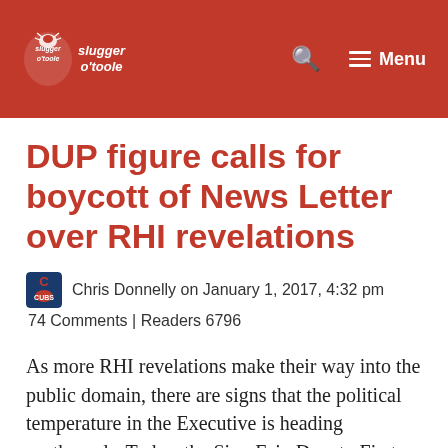Slugger O'Toole — Menu
DUP figure calls for boycott of News Letter over RHI revelations
Chris Donnelly on January 1, 2017, 4:32 pm
74 Comments | Readers 6796
As more RHI revelations make their way into the public domain, there are signs that the political temperature in the Executive is heading northwards. Today, the Sinn Fein Deputy First Minister, Martin McGuinness, reiterated his party's call for Arlene Foster to step aside as